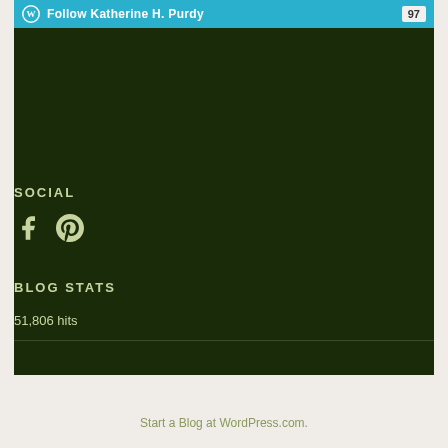Follow Katherine H. Purdy  97
SOCIAL
[Figure (other): Social media icons: Facebook and Pinterest]
BLOG STATS
51,806 hits
Start a Blog at WordPress.com.